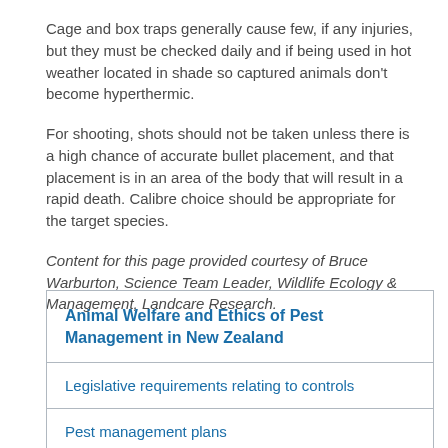Cage and box traps generally cause few, if any injuries, but they must be checked daily and if being used in hot weather located in shade so captured animals don't become hyperthermic.
For shooting, shots should not be taken unless there is a high chance of accurate bullet placement, and that placement is in an area of the body that will result in a rapid death. Calibre choice should be appropriate for the target species.
Content for this page provided courtesy of Bruce Warburton, Science Team Leader, Wildlife Ecology & Management, Landcare Research.
Animal Welfare and Ethics of Pest Management in New Zealand
Legislative requirements relating to controls
Pest management plans
Welfare performance for introduced...